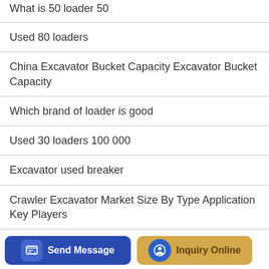What is 50 loader 50
Used 80 loaders
China Excavator Bucket Capacity Excavator Bucket Capacity
Which brand of loader is good
Used 30 loaders 100 000
Excavator used breaker
Crawler Excavator Market Size By Type Application Key Players
Jilin Loader Manufacturers
Send Message | Inquiry Online